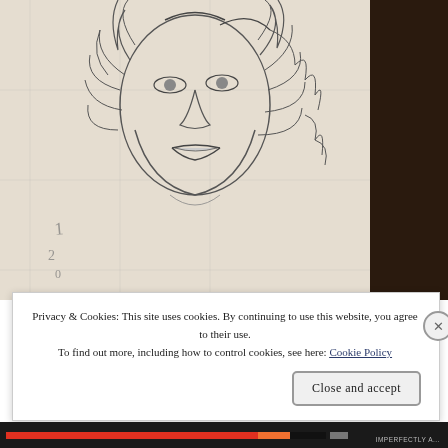[Figure (illustration): A pencil sketch drawing of a person's face with curly hair, shown on a sketchbook page. The sketchbook is photographed against a dark background. The sketch shows a face with full lips and flowing curly hair surrounding it.]
Privacy & Cookies: This site uses cookies. By continuing to use this website, you agree to their use.
To find out more, including how to control cookies, see here: Cookie Policy
Close and accept
IMPERFECTLY A...